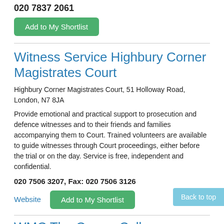020 7837 2061
Add to My Shortlist
Witness Service Highbury Corner Magistrates Court
Highbury Corner Magistrates Court, 51 Holloway Road, London, N7 8JA
Provide emotional and practical support to prosecution and defence witnesses and to their friends and families accompanying them to Court. Trained volunteers are available to guide witnesses through Court proceedings, either before the trial or on the day. Service is free, independent and confidential.
020 7506 3207, Fax: 020 7506 3126
Website
Add to My Shortlist
Back to top
WMC The Corner Coll...